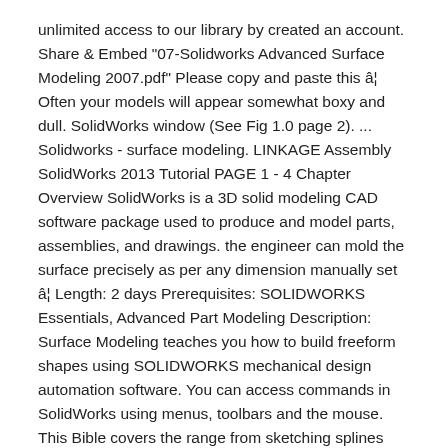unlimited access to our library by created an account. Share & Embed "07-Solidworks Advanced Surface Modeling 2007.pdf" Please copy and paste this â¦ Often your models will appear somewhat boxy and dull. SolidWorks window (See Fig 1.0 page 2). ... Solidworks - surface modeling. LINKAGE Assembly SolidWorks 2013 Tutorial PAGE 1 - 4 Chapter Overview SolidWorks is a 3D solid modeling CAD software package used to produce and model parts, assemblies, and drawings. the engineer can mold the surface precisely as per any dimension manually set â¦ Length: 2 days Prerequisites: SOLIDWORKS Essentials, Advanced Part Modeling Description: Surface Modeling teaches you how to build freeform shapes using SOLIDWORKS mechanical design automation software. You can access commands in SolidWorks using menus, toolbars and the mouse. This Bible covers the range from sketching splines and shelling to modeling blends and decorative features. Our